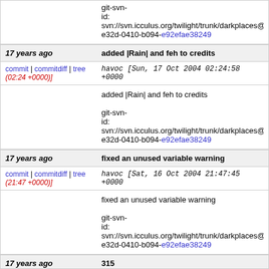git-svn-id: svn://svn.icculus.org/twilight/trunk/darkplaces@ e32d-0410-b094-e92efae38249
17 years ago | added |Rain| and feh to credits
commit | commitdiff | tree (02:24 +0000)] havoc [Sun, 17 Oct 2004 02:24:58 +0000
added |Rain| and feh to credits

git-svn-id: svn://svn.icculus.org/twilight/trunk/darkplaces@ e32d-0410-b094-e92efae38249
17 years ago | fixed an unused variable warning
commit | commitdiff | tree (21:47 +0000)] havoc [Sat, 16 Oct 2004 21:47:45 +0000
fixed an unused variable warning

git-svn-id: svn://svn.icculus.org/twilight/trunk/darkplaces@ e32d-0410-b094-e92efae38249
17 years ago | 315